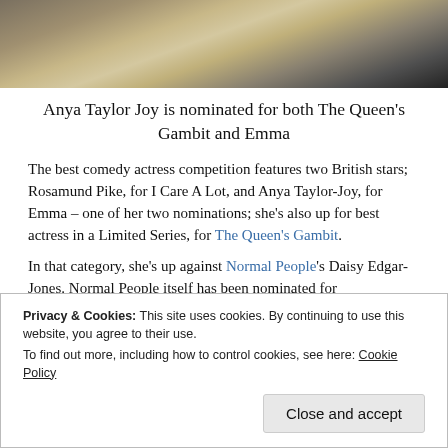[Figure (photo): Top portion of a chess board photo with pieces arranged, dark background, partial view]
Anya Taylor Joy is nominated for both The Queen's Gambit and Emma
The best comedy actress competition features two British stars; Rosamund Pike, for I Care A Lot, and Anya Taylor-Joy, for Emma – one of her two nominations; she's also up for best actress in a Limited Series, for The Queen's Gambit.
In that category, she's up against Normal People's Daisy Edgar-Jones. Normal People itself has been nominated for
Privacy & Cookies: This site uses cookies. By continuing to use this website, you agree to their use.
To find out more, including how to control cookies, see here: Cookie Policy
Close and accept